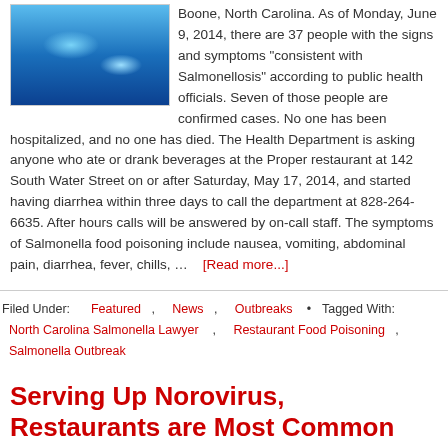[Figure (photo): Blue-tinted close-up photo, possibly of bacteria or water droplets under microscope]
Boone, North Carolina. As of Monday, June 9, 2014, there are 37 people with the signs and symptoms "consistent with Salmonellosis" according to public health officials. Seven of those people are confirmed cases. No one has been hospitalized, and no one has died. The Health Department is asking anyone who ate or drank beverages at the Proper restaurant at 142 South Water Street on or after Saturday, May 17, 2014, and started having diarrhea within three days to call the department at 828-264-6635. After hours calls will be answered by on-call staff. The symptoms of Salmonella food poisoning include nausea, vomiting, abdominal pain, diarrhea, fever, chills, … [Read more...]
Filed Under: Featured , News , Outbreaks • Tagged With: North Carolina Salmonella Lawyer , Restaurant Food Poisoning , Salmonella Outbreak
Serving Up Norovirus, Restaurants are Most Common Source of